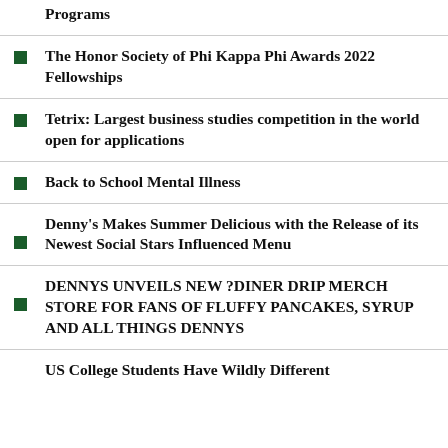Programs
The Honor Society of Phi Kappa Phi Awards 2022 Fellowships
Tetrix: Largest business studies competition in the world open for applications
Back to School Mental Illness
Denny's Makes Summer Delicious with the Release of its Newest Social Stars Influenced Menu
DENNYS UNVEILS NEW ?DINER DRIP MERCH STORE FOR FANS OF FLUFFY PANCAKES, SYRUP AND ALL THINGS DENNYS
US College Students Have Wildly Different